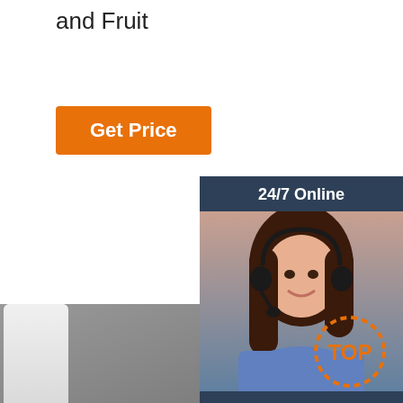and Fruit
[Figure (other): Orange 'Get Price' button]
[Figure (other): 24/7 Online customer service widget with photo of female agent wearing headset, 'Click here for free chat!' text and orange QUOTATION button]
[Figure (photo): Photo of stainless steel divided cafeteria/lunch tray with multiple compartments, on grey background with white ceramic cup]
[Figure (other): TOP badge with dotted orange circle border and orange text]